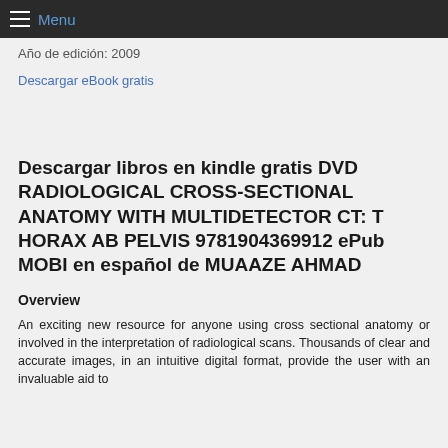Menu
Año de edición: 2009
Descargar eBook gratis
Descargar libros en kindle gratis DVD RADIOLOGICAL CROSS-SECTIONAL ANATOMY WITH MULTIDETECTOR CT: T HORAX AB PELVIS 9781904369912 ePub MOBI en español de MUAAZE AHMAD
Overview
An exciting new resource for anyone using cross sectional anatomy or involved in the interpretation of radiological scans. Thousands of clear and accurate images, in an intuitive digital format, provide the user with an invaluable aid to